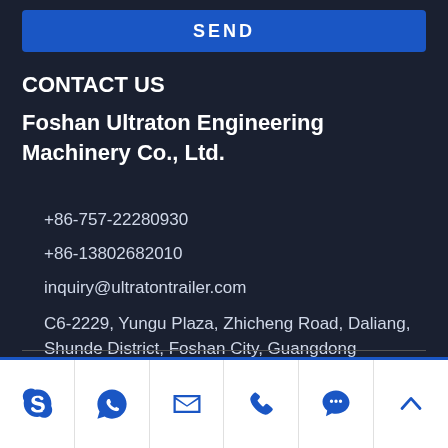SEND
CONTACT US
Foshan Ultraton Engineering Machinery Co., Ltd.
+86-757-22280930
+86-13802682010
inquiry@ultratontrailer.com
C6-2229, Yungu Plaza, Zhicheng Road, Daliang, Shunde District, Foshan City, Guangdong
[Figure (infographic): Footer navigation bar with icons: Skype, WhatsApp, email, phone, chat, and scroll-to-top arrow]